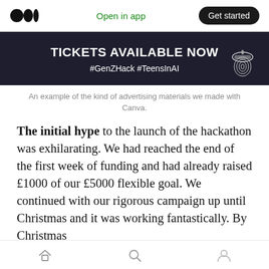Open in app  |  Get started
[Figure (other): Dark navy banner advertising a hackathon event with text 'TICKETS AVAILABLE NOW' and '#GenZHack #TeensInAI' with an acorn logo icon on the right.]
An example of the kind of advertising materials we made with Canva.
The initial hype to the launch of the hackathon was exhilarating. We had reached the end of the first week of funding and had already raised £1000 of our £5000 flexible goal. We continued with our rigorous campaign up until Christmas and it was working fantastically. By Christmas
Home  Search  Profile